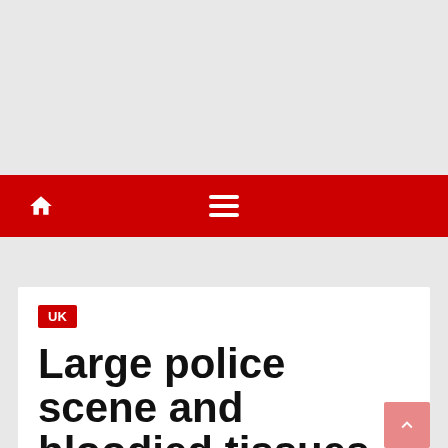[Figure (screenshot): Grey advertisement area at top of page]
Navigation bar with home icon and hamburger menu on red background
UK
Large police scene and bloodied tissues amid reports of